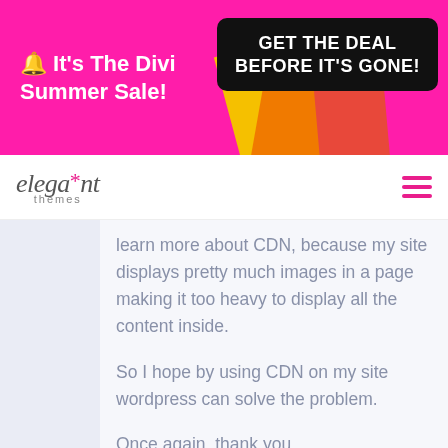[Figure (screenshot): Divi Summer Sale banner advertisement with pink background, yellow/orange/red decorative shapes, and a black 'GET THE DEAL BEFORE IT'S GONE!' button]
[Figure (logo): Elegant Themes logo in italic serif font with pink asterisk, followed by hamburger menu icon in pink]
learn more about CDN, because my site displays pretty much images in a page making it too heavy to display all the content inside.
So I hope by using CDN on my site wordpress can solve the problem.
Once again, thank you.